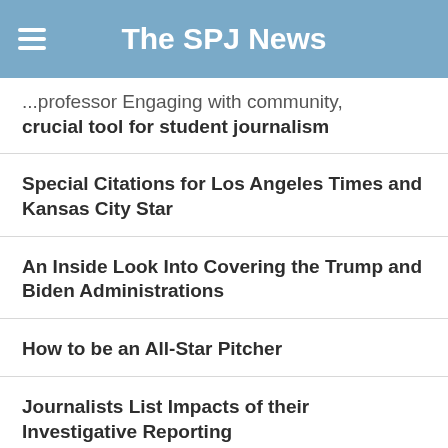The SPJ News
...professor Engaging with community, crucial tool for student journalism
Special Citations for Los Angeles Times and Kansas City Star
An Inside Look Into Covering the Trump and Biden Administrations
How to be an All-Star Pitcher
Journalists List Impacts of their Investigative Reporting